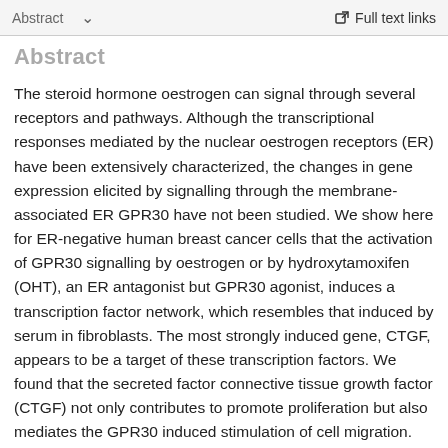Abstract  ∨   Full text links
Abstract
The steroid hormone oestrogen can signal through several receptors and pathways. Although the transcriptional responses mediated by the nuclear oestrogen receptors (ER) have been extensively characterized, the changes in gene expression elicited by signalling through the membrane-associated ER GPR30 have not been studied. We show here for ER-negative human breast cancer cells that the activation of GPR30 signalling by oestrogen or by hydroxytamoxifen (OHT), an ER antagonist but GPR30 agonist, induces a transcription factor network, which resembles that induced by serum in fibroblasts. The most strongly induced gene, CTGF, appears to be a target of these transcription factors. We found that the secreted factor connective tissue growth factor (CTGF) not only contributes to promote proliferation but also mediates the GPR30 induced stimulation of cell migration. The...